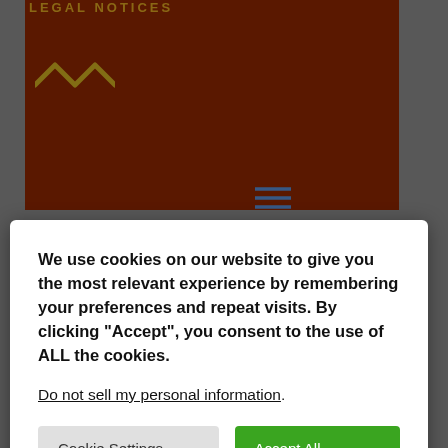[Figure (screenshot): Background webpage with dark red/brown header section labeled 'LEGAL NOTICES', a zigzag icon, and a hamburger menu icon. Below is a green footer bar with a dark email box showing '>> support@bajrontbooks.com'. A splat graphic labeled 'BACK TO TOP' is in the bottom right.]
We use cookies on our website to give you the most relevant experience by remembering your preferences and repeat visits. By clicking “Accept”, you consent to the use of ALL the cookies.
Do not sell my personal information.
Cookie Settings
Accept All